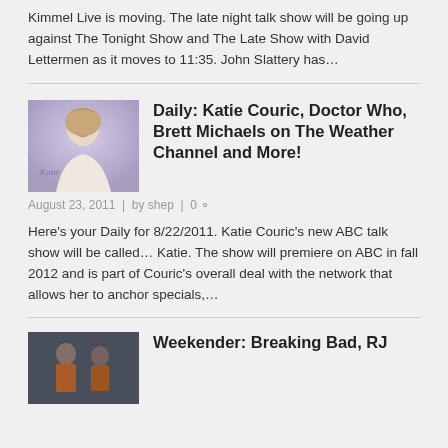Kimmel Live is moving. The late night talk show will be going up against The Tonight Show and The Late Show with David Lettermen as it moves to 11:35. John Slattery has…
Daily: Katie Couric, Doctor Who, Brett Michaels on The Weather Channel and More!
[Figure (photo): Photo of Katie Couric with blonde hair, smiling, wearing a light-colored top, with a Katie logo watermark]
August 23, 2011 | by shep | 0
Here's your Daily for 8/22/2011. Katie Couric's new ABC talk show will be called… Katie. The show will premiere on ABC in fall 2012 and is part of Couric's overall deal with the network that allows her to anchor specials,…
[Figure (photo): Photo of two people in orange prison-style clothing, associated with Breaking Bad]
Weekender: Breaking Bad, RJ